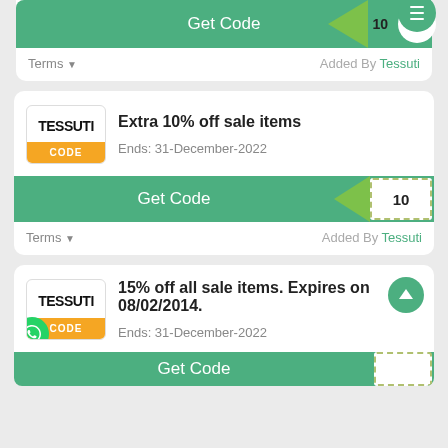[Figure (screenshot): Partial coupon card showing Get Code button with green arrow and '10' badge, Terms row with 'Added By Tessuti']
[Figure (screenshot): Tessuti coupon card: Extra 10% off sale items, Ends: 31-December-2022, CODE label, Get Code button with '10' badge]
Extra 10% off sale items
Ends: 31-December-2022
Terms  Added By Tessuti
[Figure (screenshot): Tessuti coupon card: 15% off all sale items. Expires on 08/02/2014. Ends: 31-December-2022, CODE label, partial Get Code button at bottom]
15% off all sale items. Expires on 08/02/2014.
Ends: 31-December-2022